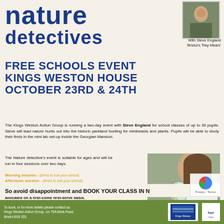nature detectives
[Figure (photo): Portrait photo of Steve England outdoors]
With Steve England 'Bristol's 'Ray Mears'
FREE SCHOOLS EVENT KINGS WESTON HOUSE OCTOBER 23RD & 24TH
The Kings Weston Action Group is running a two-day event with Steve England for school classes of up to 30 pupils. Steve will lead nature hunts out into the historic parkland hunting for minibeasts and plants. Pupils will be able to study their finds in the mini lab set-up inside the Georgian Mansion.
The Nature detective's event is suitable for ages and will be run in four sessions over two days.
Morning session - (times to suit your school)
Afternoon session - (times to suit your school)
Each event will be about 2.5-3hrs. Time slots will be allocated on a first-come first-serve basis.
[Figure (photo): Children examining nature finds through magnifying glass in a jar]
So avoid disappointment and BOOK YOUR CLASS IN N
To book, or for more details please contact us: Kings Weston Action Group, c/o 75A Alma Road, Bristol BS8 2DL